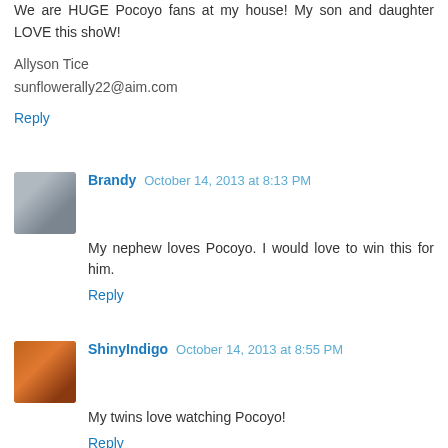We are HUGE Pocoyo fans at my house! My son and daughter LOVE this shoW!
Allyson Tice
sunflowerally22@aim.com
Reply
Brandy  October 14, 2013 at 8:13 PM
My nephew loves Pocoyo. I would love to win this for him.
Reply
ShinyIndigo  October 14, 2013 at 8:55 PM
My twins love watching Pocoyo!
Reply
kathy dalton  October 14, 2013 at 9:22 PM